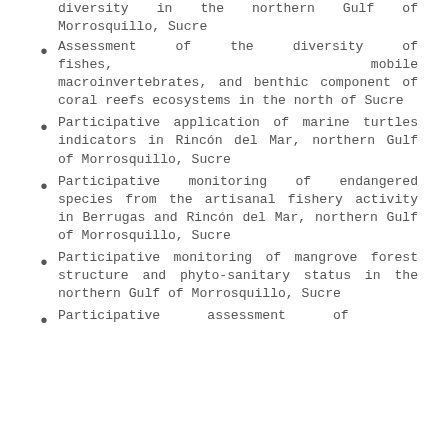diversity in the northern Gulf of Morrosquillo, Sucre
Assessment of the diversity of fishes, mobile macroinvertebrates, and benthic component of coral reefs ecosystems in the north of Sucre
Participative application of marine turtles indicators in Rincón del Mar, northern Gulf of Morrosquillo, Sucre
Participative monitoring of endangered species from the artisanal fishery activity in Berrugas and Rincón del Mar, northern Gulf of Morrosquillo, Sucre
Participative monitoring of mangrove forest structure and phyto-sanitary status in the northern Gulf of Morrosquillo, Sucre
Participative assessment of